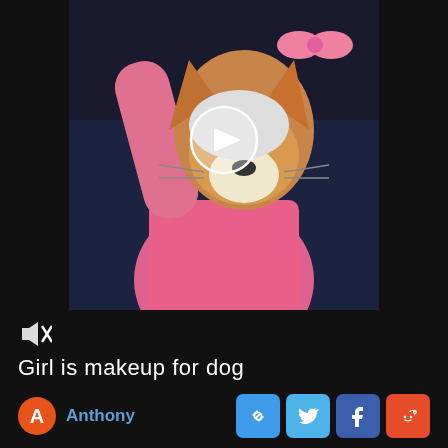[Figure (screenshot): Video thumbnail showing a dog (Shiba Inu) wearing a pink outfit with a girl applying makeup, with a play button overlay circle in the center]
Girl is makeup for dog
Anthony
[Figure (infographic): Social share buttons: link, Twitter, Facebook, Reddit]
Animals & Pets
Cute Girls
Makeup Tools
Dog Breeds